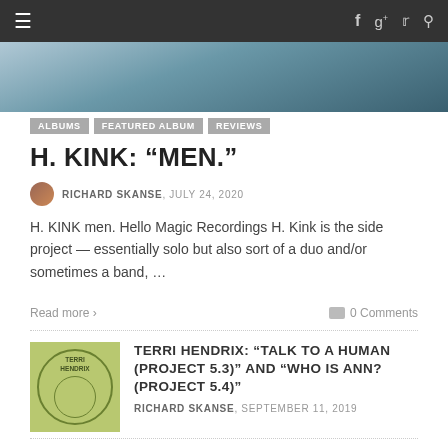≡   f g+ 🐦 🔍
[Figure (photo): Hero image strip showing a person in grey clothing against a blue background]
ALBUMS  FEATURED ALBUM  REVIEWS
H. KINK: “MEN.”
RICHARD SKANSE, JULY 24, 2020
H. KINK men. Hello Magic Recordings H. Kink is the side project — essentially solo but also sort of a duo and/or sometimes a band, …
Read more ›                      0 Comments
[Figure (photo): Album cover for Terri Hendrix, green background with circular design]
TERRI HENDRIX: “TALK TO A HUMAN (PROJECT 5.3)” AND “WHO IS ANN? (PROJECT 5.4)”
RICHARD SKANSE, SEPTEMBER 11, 2019
[Figure (photo): Album cover for Son Volt, white background with SON text in blue]
SON VOLT: “UNION”
SCOTT SCHINDER, MAY 7, 2019